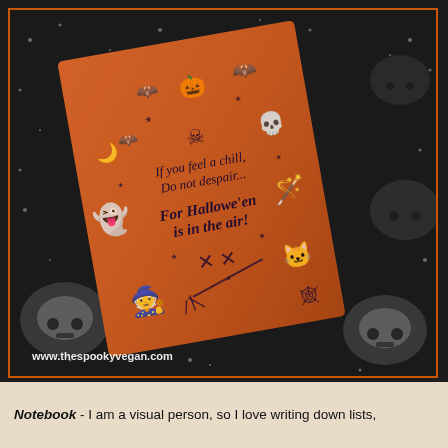[Figure (photo): Photo of an orange Halloween-themed notebook with dark navy/black illustrations of bats, pumpkin, skull, crossbones, ghost, black cat, witch, spider web, and stars. Text on the notebook reads: 'If you feel a chill, Do not despair... For Hallowe'en is in the air!' The notebook is placed on a dark background fabric with skull pattern. Watermark reads www.thespookyvegan.com]
Notebook - I am a visual person, so I love writing down lists,